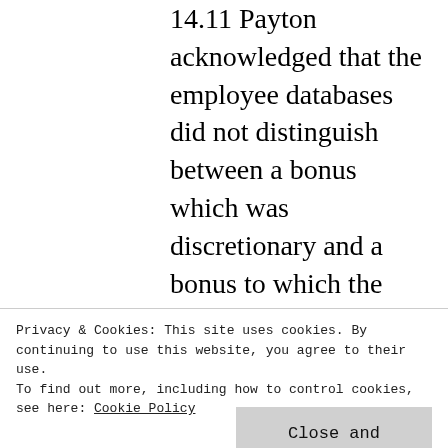14.11 Payton acknowledged that the employee databases did not distinguish between a bonus which was discretionary and a bonus to which the employee had a contractual entitlement. He accepted that, for the appellant to have succeeded, he had to show that the bonus was of the contractual entitlement type. However, he submitted that the documents would have had a significant impact on the trial judge's assessment of the witnesses' credibility. One of the issues at trial was whether there had been any bonus scheme. These
Privacy & Cookies: This site uses cookies. By continuing to use this website, you agree to their use. To find out more, including how to control cookies, see here: Cookie Policy
the budget reports showed the